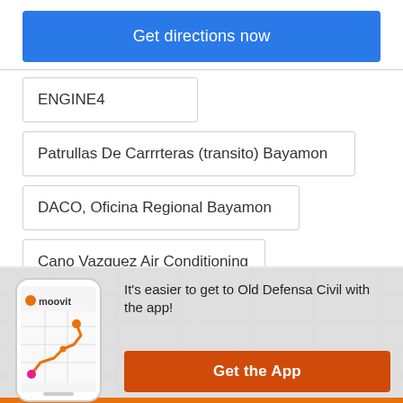Get directions now
ENGINE4
Patrullas De Carrrteras (transito) Bayamon
DACO, Oficina Regional Bayamon
Cano Vazquez Air Conditioning
[Figure (screenshot): Moovit app phone screenshot with route map showing orange route line]
It's easier to get to Old Defensa Civil with the app!
Get the App